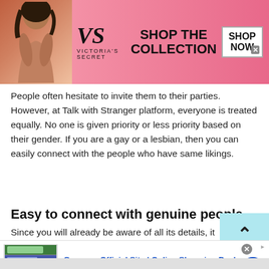[Figure (screenshot): Victoria's Secret advertisement banner with model photo, VS logo, 'SHOP THE COLLECTION' text, and 'SHOP NOW' button]
People often hesitate to invite them to their parties. However, at Talk with Stranger platform, everyone is treated equally. No one is given priority or less priority based on their gender. If you are a gay or a lesbian, then you can easily connect with the people who have same likings.
Easy to connect with genuine people
Since you will already be aware of all its details, it
[Figure (screenshot): Groupon advertisement banner with website screenshot thumbnail, 'Groupon Official Site | Online Shopping Deals' title, description text, www.groupon.com URL, and blue arrow button]